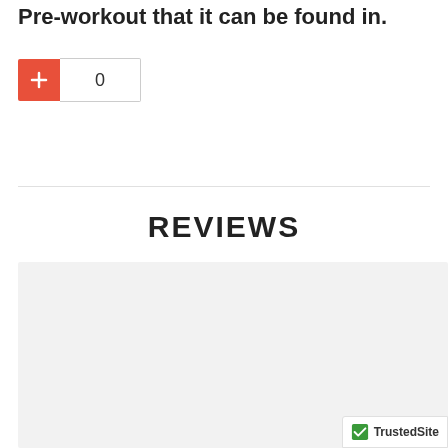Pre-workout that it can be found in.
[Figure (other): Red plus button with quantity counter showing 0]
REVIEWS
[Figure (other): Reviews section powered by Yotpo with 0 star rating and TrustedSite badge]
Powered by YOT PO.
[Figure (other): Five empty star rating icons in gold/yellow outline]
TrustedSite